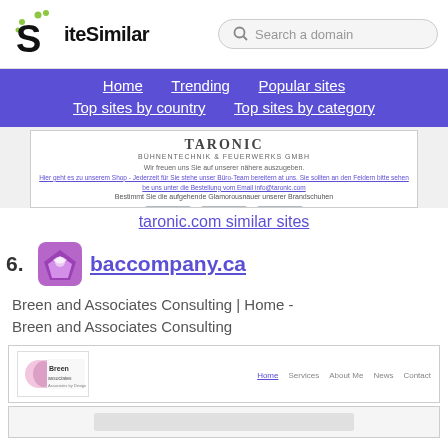SiteSimilar — Search a domain
Home  Trending  Popular sites  Top sites by country  Top sites by category
[Figure (screenshot): Screenshot of taronic.com website showing TARONIC logo and German text]
taronic.com similar sites
26. baccompany.ca
Breen and Associates Consulting | Home - Breen and Associates Consulting
[Figure (screenshot): Screenshot of baccompany.ca website showing Breen logo and navigation: Home, Services, About Me, News, Contact]